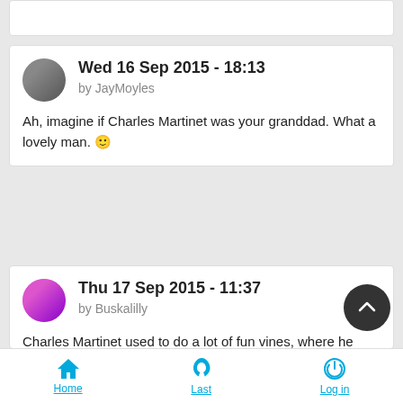Wed 16 Sep 2015 - 18:13 by JayMoyles
Ah, imagine if Charles Martinet was your granddad. What a lovely man. 🙂
Thu 17 Sep 2015 - 11:37 by Buskalilly
Charles Martinet used to do a lot of fun vines, where he went around with Mario, Luigi and Wario figurines doing the voices. I love there's just something about Mario that attracts wonderful people to be involved. Just pure joy, the whole shebang.
Home  Last  Log in